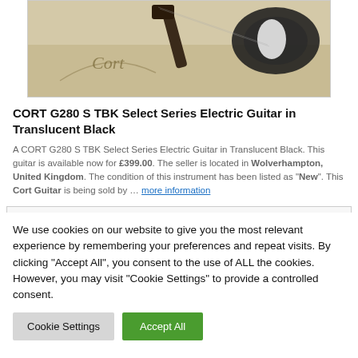[Figure (photo): Photo of a CORT G280 S TBK electric guitar in Translucent Black, shown against a light beige background with the Cort logo visible on the guitar body box.]
CORT G280 S TBK Select Series Electric Guitar in Translucent Black
A CORT G280 S TBK Select Series Electric Guitar in Translucent Black. This guitar is available now for £399.00. The seller is located in Wolverhampton, United Kingdom. The condition of this instrument has been listed as "New". This Cort Guitar is being sold by … more information
We use cookies on our website to give you the most relevant experience by remembering your preferences and repeat visits. By clicking "Accept All", you consent to the use of ALL the cookies. However, you may visit "Cookie Settings" to provide a controlled consent.